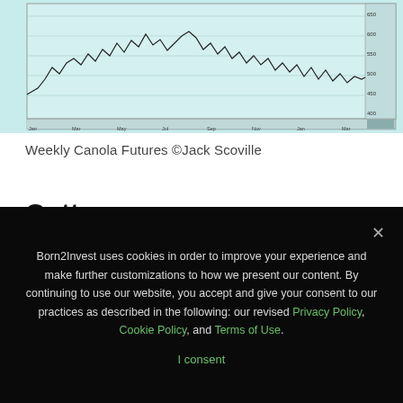[Figure (continuous-plot): Weekly Canola Futures price chart — a line/candlestick chart showing weekly price history with a light blue/cyan background, dark price line with volatile movements, x-axis date labels, y-axis price scale on the right.]
Weekly Canola Futures ©Jack Scoville
Cotton
Cotton was lower for the week on weak demand. The weekly export sales report was poor once again and there are no real prospects in sight for improvement soon. USDA